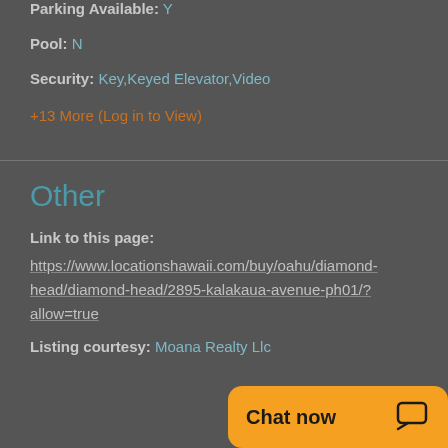Parking Available: Y
Pool: N
Security: Key,Keyed Elevator,Video
+13 More (Log in to View)
Other
Link to this page:
https://www.locationshawaii.com/buy/oahu/diamond-head/diamond-head/2895-kalakaua-avenue-ph01/?allow=true
Listing courtesy: Moana Realty Llc